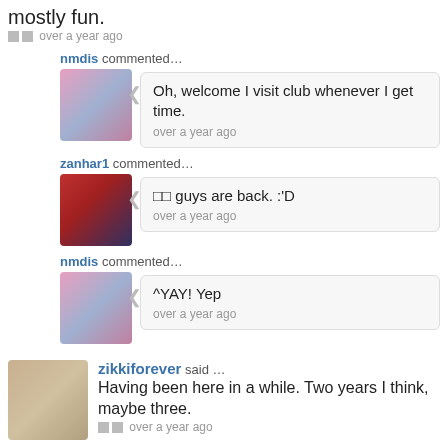mostly fun.
□□ over a year ago
nmdis commented…
Oh, welcome I visit club whenever I get time.
over a year ago
zanhar1 commented…
□□ guys are back. :'D
over a year ago
nmdis commented…
^YAY! Yep
over a year ago
zikkiforever said …
Having been here in a while. Two years I think, maybe three.
□□ over a year ago
zikkiforever commented…
Can I also apologise for thirteen □ old me being such a b---- on here?